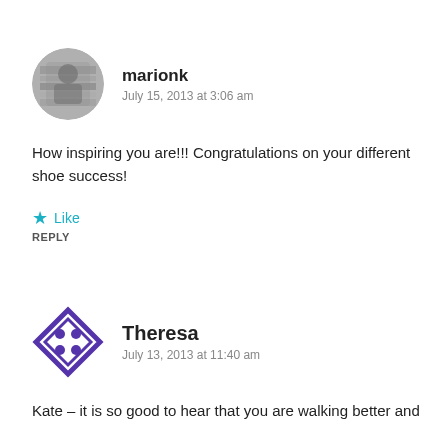[Figure (photo): Circular avatar photo of user marionk, grayscale image of a person]
marionk
July 15, 2013 at 3:06 am
How inspiring you are!!! Congratulations on your different shoe success!
Like
REPLY
[Figure (logo): Circular avatar logo for user Theresa, purple diamond/compass shape with four dots]
Theresa
July 13, 2013 at 11:40 am
Kate – it is so good to hear that you are walking better and